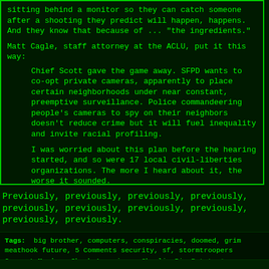sitting behind a monitor so they can catch someone after a shooting they predict will happen, happens. And they know that because of ... "the ingredients."
Matt Cagle, staff attorney at the ACLU, put it this way:
Chief Scott gave the game away. SFPD wants to co-opt private cameras, apparently to place certain neighborhoods under near constant, preemptive surveillance. Police commandeering people's cameras to spy on their neighbors doesn't reduce crime but it will fuel inequality and invite racial profiling.
I was worried about this plan before the hearing started, and so were 17 local civil-liberties organizations. The more I heard about it, the worse it sounded.
Previously, previously, previously, previously, previously, previously, previously, previously, previously, previously.
Tags: big brother, computers, conspiracies, doomed, grim meathook future, 5 Comments security, sf, stormtroopers
Current Music: Skunk Anansie -- Charlie Big Potato ♫